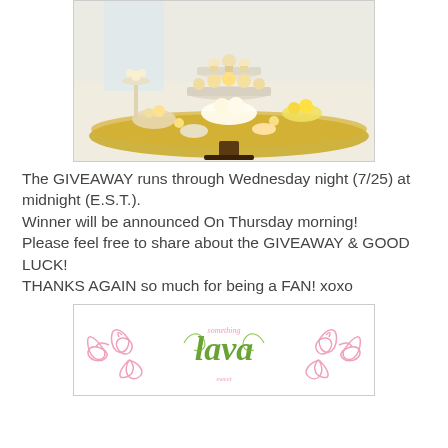[Figure (photo): A dessert table with a large round yellow-gold tray holding tiered cake stands with cupcakes, pastries, and sweets in white and yellow colors, with a bright window in the background.]
The GIVEAWAY runs through Wednesday night (7/25) at midnight (E.S.T.).
Winner will be announced On Thursday morning!
Please feel free to share about the GIVEAWAY & GOOD LUCK!
THANKS AGAIN so much for being a FAN! xoxo
[Figure (logo): Decorative script logo reading 'lava' or similar name in green cursive, surrounded by pink floral/swirl ornamental designs on a white background.]